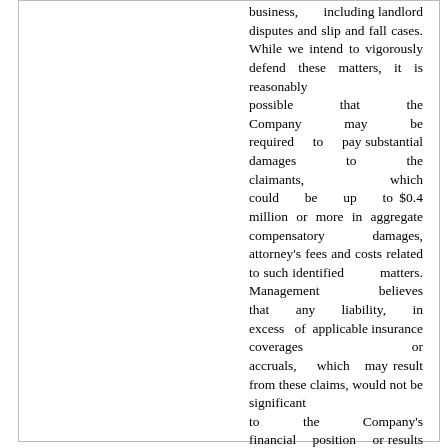business, including landlord disputes and slip and fall cases. While we intend to vigorously defend these matters, it is reasonably possible that the Company may be required to pay substantial damages to the claimants, which could be up to $0.4 million or more in aggregate compensatory damages, attorney's fees and costs related to such identified matters. Management believes that any liability, in excess of applicable insurance coverages or accruals, which may result from these claims, would not be significant to the Company's financial position or results of operations.